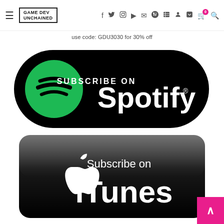Game Dev Unchained - navigation header with hamburger menu, logo, social icons, cart, and search
use code: GDU3030 for 30% off
[Figure (logo): Subscribe on Spotify badge - black pill-shaped button with green Spotify logo circle and white text 'SUBSCRIBE ON Spotify']
[Figure (logo): Subscribe on iTunes badge - dark rounded rectangle with glossy finish, white Apple logo, and white text 'Subscribe on iTunes']